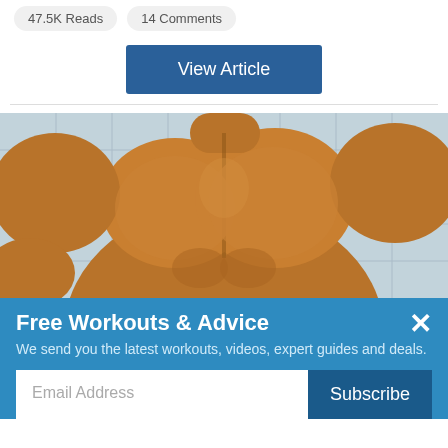47.5K Reads  14 Comments
View Article
[Figure (photo): Muscular bodybuilder torso against tiled wall background]
Free Workouts & Advice
We send you the latest workouts, videos, expert guides and deals.
Email Address  Subscribe